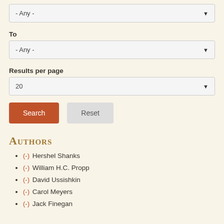- Any -
To
- Any -
Results per page
20
Search
Reset
Authors
(-) Hershel Shanks
(-) William H.C. Propp
(-) David Ussishkin
(-) Carol Meyers
(-) Jack Finegan